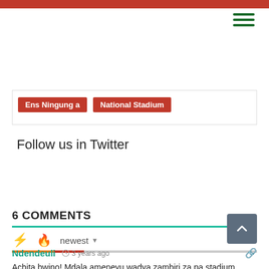Ens Ningung a | National Stadium
Follow us in Twitter
6 COMMENTS
newest
Ndendeuli  3 years ago
Achita bwino! Mdala ameneyu wadya zambiri za pa stadium.